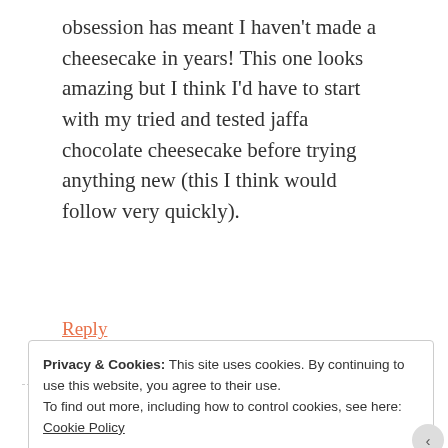obsession has meant I haven't made a cheesecake in years! This one looks amazing but I think I'd have to start with my tried and tested jaffa chocolate cheesecake before trying anything new (this I think would follow very quickly).
Reply
Utsav
MARCH 24, 2014 AT 3:15 AM
Privacy & Cookies: This site uses cookies. By continuing to use this website, you agree to their use.
To find out more, including how to control cookies, see here: Cookie Policy
Close and accept